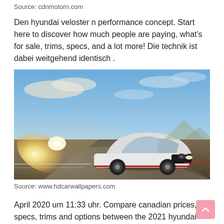Source: cdnmotorn.com
Den hyundai veloster n performance concept. Start here to discover how much people are paying, what's for sale, trims, specs, and a lot more! Die technik ist dabei weitgehend identisch .
[Figure (photo): White Hyundai Veloster N performance car driving on a road with a bright sunset glare on the left side and blue sky in the background.]
Source: www.hdcarwallpapers.com
April 2020 um 11:33 uhr. Compare canadian prices, specs, trims and options between the 2021 hyundai